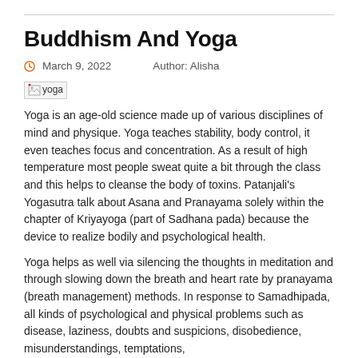Buddhism And Yoga
March 9, 2022    Author: Alisha
[Figure (photo): Broken image placeholder labeled 'yoga']
Yoga is an age-old science made up of various disciplines of mind and physique. Yoga teaches stability, body control, it even teaches focus and concentration. As a result of high temperature most people sweat quite a bit through the class and this helps to cleanse the body of toxins. Patanjali's Yogasutra talk about Asana and Pranayama solely within the chapter of Kriyayoga (part of Sadhana pada) because the device to realize bodily and psychological health.
Yoga helps as well via silencing the thoughts in meditation and through slowing down the breath and heart rate by pranayama (breath management) methods. In response to Samadhipada, all kinds of psychological and physical problems such as disease, laziness, doubts and suspicions, disobedience, misunderstandings, temptations,